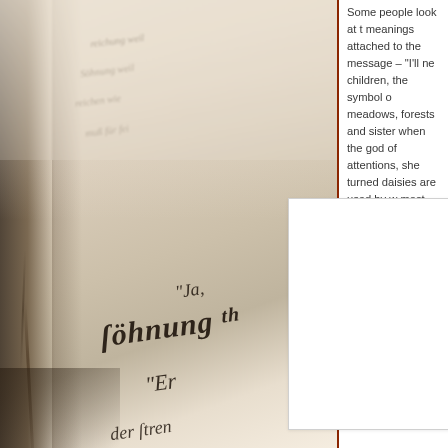[Figure (photo): Close-up photograph of an old book with German Fraktur script text, sepia-toned, with depth-of-field blur effect. Visible words include 'söhnung', 'Ja,', 'Er', 'der stren', 'das', 'Tuch'. The page appears aged and yellowed.]
Some people look at t meanings attached to the message – "I'll ne children, the symbol o meadows, forests and sister when the god of attentions, she turned daisies are used by w most.  By picking on th